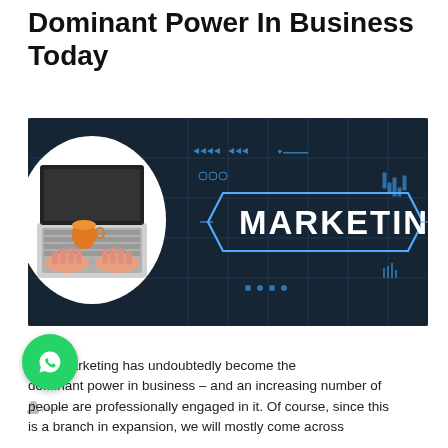Dominant Power In Business Today
[Figure (photo): A person typing on a laptop with a digital marketing themed graphic showing the word MARKETING in a tech-styled hexagonal border against a dark blue background with circuit-like decorations.]
Digital marketing has undoubtedly become the dominant power in business – and an increasing number of people are professionally engaged in it. Of course, since this is a branch in expansion, we will mostly come across